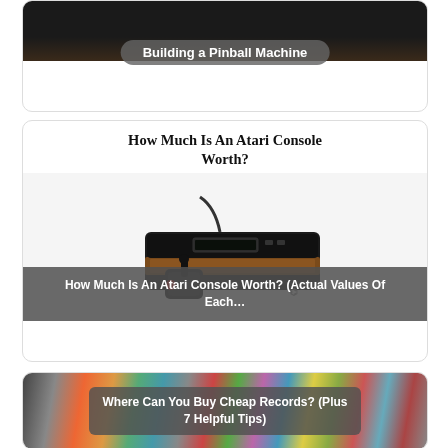[Figure (photo): Dark photo of pinball machine components at top of card]
Building a Pinball Machine
How Much Is An Atari Console Worth?
[Figure (photo): Photo of an Atari 2600 console with joystick controller]
How Much Is An Atari Console Worth? (Actual Values Of Each…
[Figure (photo): Photo of colorful vinyl records]
Where Can You Buy Cheap Records? (Plus 7 Helpful Tips)